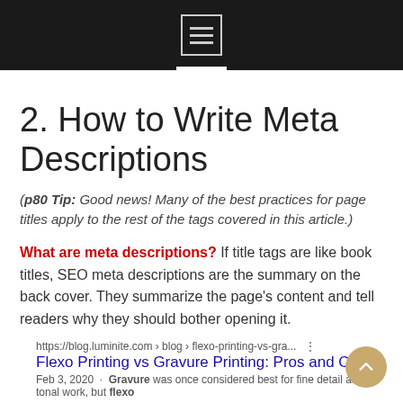2. How to Write Meta Descriptions
(p80 Tip: Good news! Many of the best practices for page titles apply to the rest of the tags covered in this article.)
What are meta descriptions? If title tags are like book titles, SEO meta descriptions are the summary on the back cover. They summarize the page's content and tell readers why they should bother opening it.
https://blog.luminite.com › blog › flexo-printing-vs-gra...
Flexo Printing vs Gravure Printing: Pros and Cons
Feb 3, 2020 ... Gravure was once considered best for fine detail and tonal work, but flexo